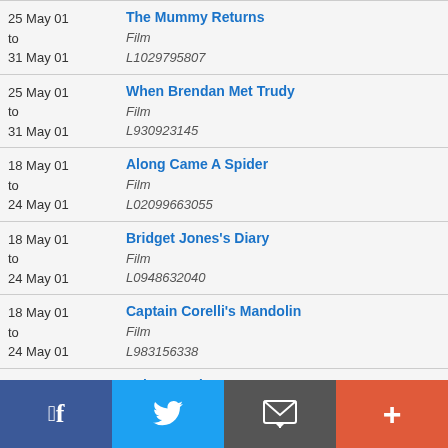25 May 01 to 31 May 01 | The Mummy Returns | Film | L1029795807
25 May 01 to 31 May 01 | When Brendan Met Trudy | Film | L930923145
18 May 01 to 24 May 01 | Along Came A Spider | Film | L02099663055
18 May 01 to 24 May 01 | Bridget Jones's Diary | Film | L0948632040
18 May 01 to 24 May 01 | Captain Corelli's Mandolin | Film | L983156338
18 May 01 | Exit Wounds | Film